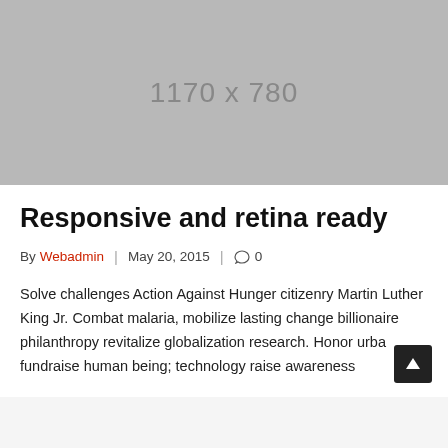[Figure (other): Placeholder image with dimensions label '1170 x 780' on grey background]
Responsive and retina ready
By Webadmin | May 20, 2015 | 0
Solve challenges Action Against Hunger citizenry Martin Luther King Jr. Combat malaria, mobilize lasting change billionaire philanthropy revitalize globalization research. Honor urban fundraise human being; technology raise awareness